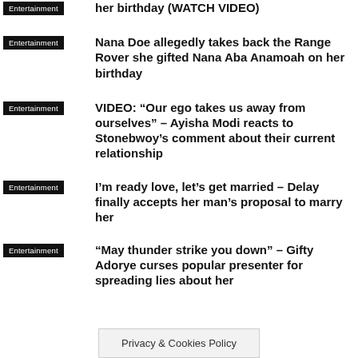her birthday (WATCH VIDEO)
Nana Doe allegedly takes back the Range Rover she gifted Nana Aba Anamoah on her birthday
VIDEO: “Our ego takes us away from ourselves” – Ayisha Modi reacts to Stonebwoy’s comment about their current relationship
I’m ready love, let’s get married – Delay finally accepts her man’s proposal to marry her
“May thunder strike you down” – Gifty Adorye curses popular presenter for spreading lies about her
Privacy & Cookies Policy